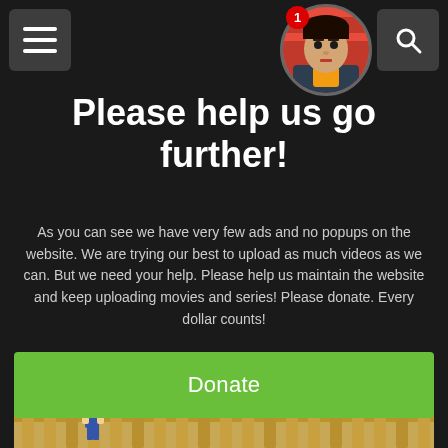[Figure (screenshot): Dark website header navigation bar with hamburger menu button on left, circular avatar photo in center-right with notification badge showing '1', and search icon on far right]
Please help us go further!
As you can see we have very few ads and no popups on the website. We are trying our best to upload as much videos as we can. But we need your help. Please help us maintain the website and keep uploading movies and series! Please donate. Every dollar counts!
Donate
[Figure (screenshot): Partial view of a cartoon/animated scene showing a character on a wooden fence or log structure against a blue sky background]